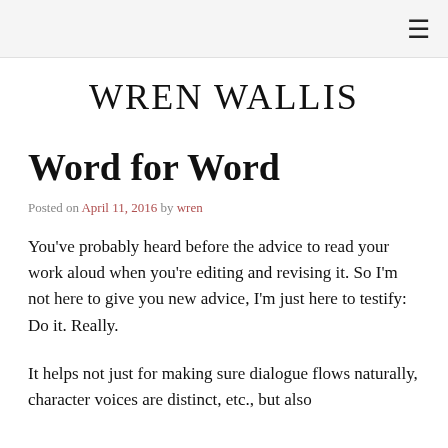≡
WREN WALLIS
Word for Word
Posted on April 11, 2016 by wren
You've probably heard before the advice to read your work aloud when you're editing and revising it. So I'm not here to give you new advice, I'm just here to testify: Do it. Really.
It helps not just for making sure dialogue flows naturally, character voices are distinct, etc., but also